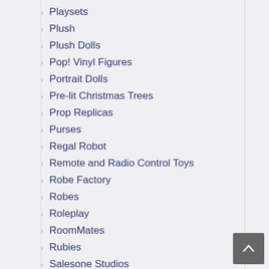Playsets
Plush
Plush Dolls
Pop! Vinyl Figures
Portrait Dolls
Pre-lit Christmas Trees
Prop Replicas
Purses
Regal Robot
Remote and Radio Control Toys
Robe Factory
Robes
Roleplay
RoomMates
Rubies
Salesone Studios
Scarves
Schylling
Science Toys